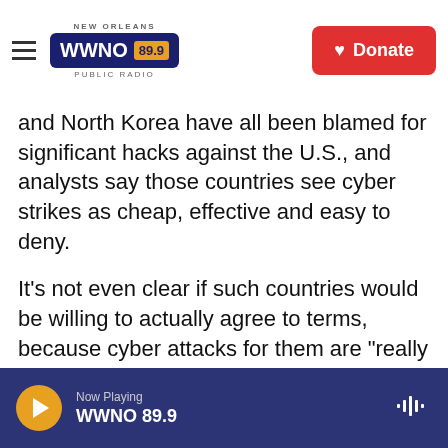NEW ORLEANS WWNO 89.9 PUBLIC RADIO | Donate
and North Korea have all been blamed for significant hacks against the U.S., and analysts say those countries see cyber strikes as cheap, effective and easy to deny.
It's not even clear if such countries would be willing to actually agree to terms, because cyber attacks for them are "really useful in their geopolitical positioning," April Falcon Doss, a former National Security Agency official who now heads a technology program at Georgetown's law school, tells NPR.
Compared to the arms agreements between the
Now Playing WWNO 89.9